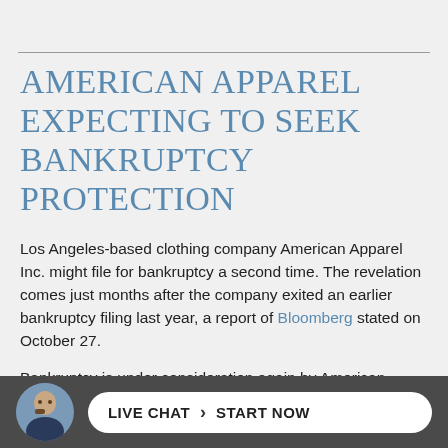American Apparel expecting to seek bankruptcy protection
Los Angeles-based clothing company American Apparel Inc. might file for bankruptcy a second time. The revelation comes just months after the company exited an earlier bankruptcy filing last year, a report of Bloomberg stated on October 27.
Bankruptcy is under consideration again by American Apparel so they can potentially cut down portions of their retail operations by exiting leases. The company completed bankruptcy procedures last February after they filed in October last year. American Apparel's first filing was made after its founder and longtime CEO Dov Charney was accused of
[Figure (other): Dark bottom bar with circular avatar photo of a man with beard in suit, and a white pill-shaped live chat button reading 'LIVE CHAT > START NOW']